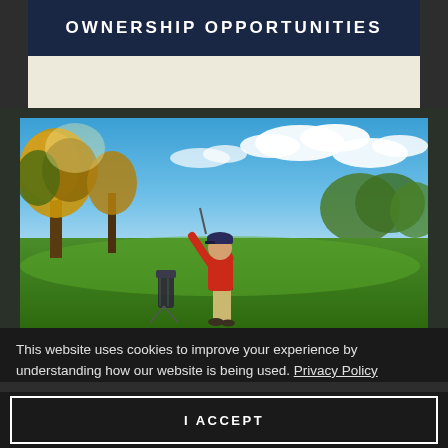OWNERSHIP OPPORTUNITIES
[Figure (photo): A golfer in a red shirt swinging a golf club on a lush green golf course, with trees in autumn foliage on the left, a pond/lake in the background on the right, and a bright blue sky with white clouds above.]
This website uses cookies to improve your experience by understanding how our website is being used. Privacy Policy
I ACCEPT